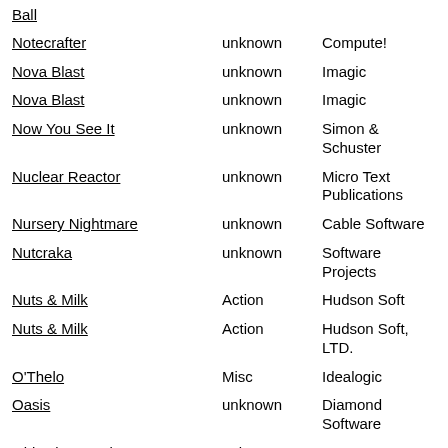Ball
Notecrafter | unknown | Compute!
Nova Blast | unknown | Imagic
Nova Blast | unknown | Imagic
Now You See It | unknown | Simon & Schuster
Nuclear Reactor | unknown | Micro Text Publications
Nursery Nightmare | unknown | Cable Software
Nutcraka | unknown | Software Projects
Nuts & Milk | Action | Hudson Soft
Nuts & Milk | Action | Hudson Soft, LTD.
O'Thelo | Misc | Idealogic
Oasis | unknown | Diamond Software
Objective Kursk | unknown | SSI
Ocean Dancer | unknown | King Software